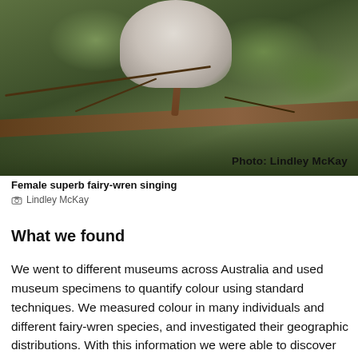[Figure (photo): Close-up photograph of a female superb fairy-wren perched on a branch in natural bush setting. The bird appears white/grey fluffy. Branch and twigs visible with green foliage in background. Photo credit overlay reads 'Photo: Lindley McKay'.]
Female superb fairy-wren singing
© Lindley McKay
What we found
We went to different museums across Australia and used museum specimens to quantify colour using standard techniques. We measured colour in many individuals and different fairy-wren species, and investigated their geographic distributions. With this information we were able to discover